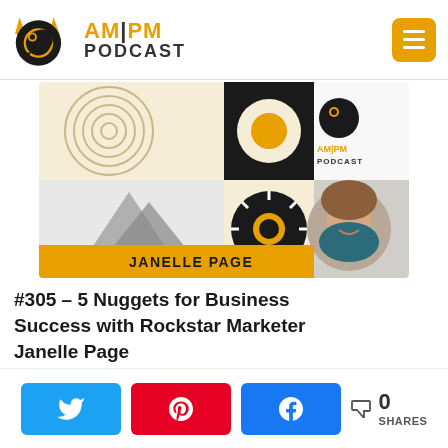AM|PM PODCAST
[Figure (photo): AM|PM Podcast episode card featuring Janelle Page – geometric design with black, white, yellow shapes and a circular portrait photo of a smiling woman with curly brown hair. Yellow banner at bottom reads JANELLE PAGE.]
#305 – 5 Nuggets for Business Success with Rockstar Marketer Janelle Page
[Figure (photo): Partial view of another AM|PM Podcast episode card – same geometric design visible at top.]
< 0 SHARES